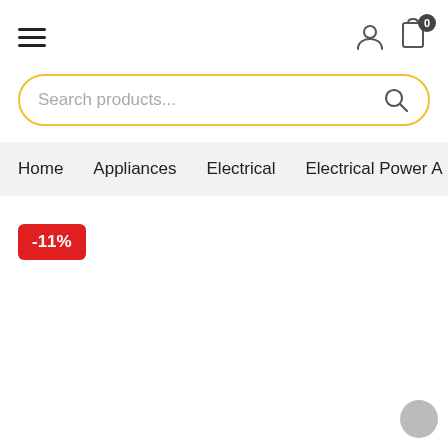Navigation header with hamburger menu, user icon, and cart icon showing 0
Search products...
Home  Appliances  Electrical  Electrical Power A
-11%